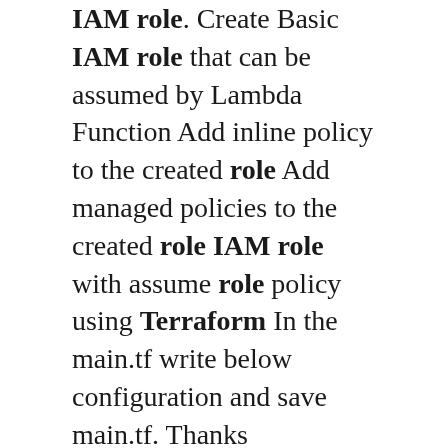IAM role. Create Basic IAM role that can be assumed by Lambda Function Add inline policy to the created role Add managed policies to the created role IAM role with assume role policy using Terraform In the main.tf write below configuration and save main.tf. Thanks @drdamour I was just trying to follow the manual AWS app configuration as shown in the link above. Looking at this again, I created an "Enterprise Application" manually in Azure (choosing the AWS gallery application), and compared the resulting App registrations/Manifest. delete - (Defaults to 30 minutes) Used when deleting the Role Assignment. Import. Role Assignments can be imported using the resource id, e.g. terraform import azurerm_role_assignment.example /subscriptions/00000000-0000-0000-0000-